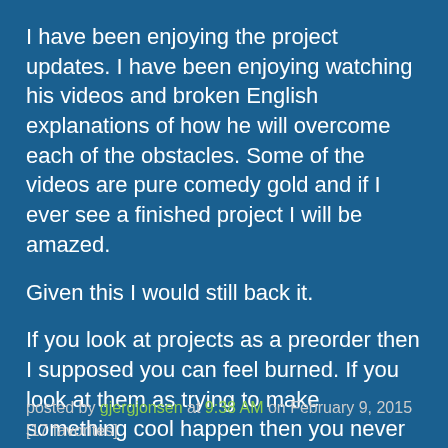I have been enjoying the project updates. I have been enjoying watching his videos and broken English explanations of how he will overcome each of the obstacles. Some of the videos are pure comedy gold and if I ever see a finished project I will be amazed.
Given this I would still back it.
If you look at projects as a preorder then I supposed you can feel burned. If you look at them as trying to make something cool happen then you never feel burned.
I've helped put on a puppet show in Brighton. I've funded more art books than I can read. I back a lot of losers that don't make it. I back local projects related to music or anything creative. I've funded a lot of software for OSes I don't even use. Why? Because I want these things to exist.
posted by gjergjonsen at 9:38 AM on February 9, 2015 [17 favorites]